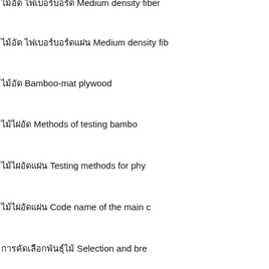ไม้อัด ไฟเบอร์บอร์ด Medium density fiber...
ไม้อัด ไฟเบอร์บอร์ดแผ่น Medium density fib...
ไม้อัด Bamboo-mat plywood
ไม้ไผ่อัด Methods of testing bambo...
ไม้ไผ่อัดแผ่น Testing methods for phy...
ไม้ไผ่อัดแผ่น Code name of the main c...
การคัดเลือกพันธุ์ไม้ Selection and bre...
การคัดเลือกพันธุ์ไม้ The state technical s...
กล้าไม้ Tree seedlings of major spe...
ไม้อัดตกแต่ง Decorative veneered woo...
ครั่งทดสอบ Methods of testing lac proc...
ครั่งทดสอบ Methods of sampling lac p...
ครั่ง Shellac
ครั่ง Sticklac
■ การจำแนกประเภท